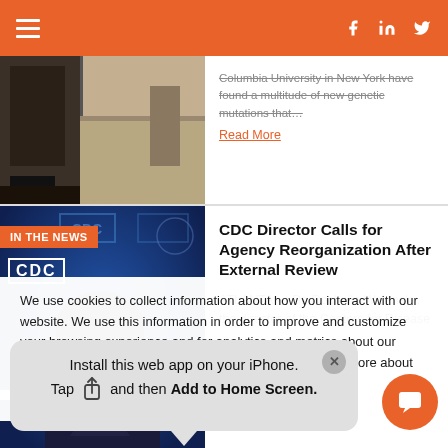Navigation header with hamburger menu and social icons (Facebook, LinkedIn, Twitter)
[Figure (photo): Partially visible article image showing an interior room with a scale or medical equipment]
Columbia University in New York have found a multitude of new genetic mutations that… Read More
[Figure (photo): CDC Director Dr. Rochelle Walensky speaking at a CDC podium, blue background with CDC logos. Badge: IN THE NEWS]
CDC Director Calls for Agency Reorganization After External Review
ATLANTA — Dr. Rochelle Walensky, the director of the Centers for Disease
We use cookies to collect information about how you interact with our website. We use this information in order to improve and customize your browsing experience and for analytics and metrics about our visitors both on this website and other media. To find out more about the cookies we use, see our Privacy Policy.
If you decline, your information won't be tracked
Install this web app on your iPhone. Tap and then Add to Home Screen.